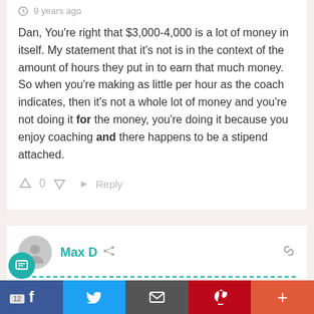9 years ago
Dan, You're right that $3,000-4,000 is a lot of money in itself. My statement that it's not is in the context of the amount of hours they put in to earn that much money. So when you're making as little per hour as the coach indicates, then it's not a whole lot of money and you're not doing it for the money, you're doing it because you enjoy coaching and there happens to be a stipend attached.
0  Reply
Max D  9 years ago
But it's all about the children right??? This is high school sports not the NCAA and certainly not the pros. I sympathize with their frustration but what exactly were they looking to accomplish by lling off? How about making a sacrifice for the kids and